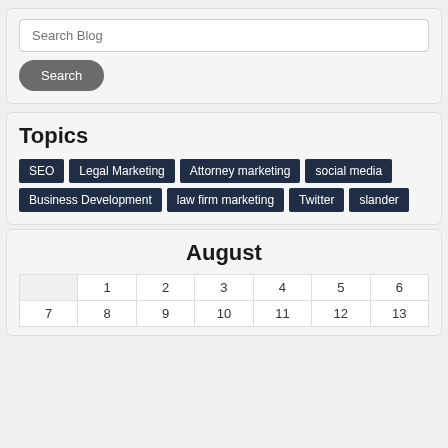Search Blog
Search
Topics
SEO
Legal Marketing
Attorney marketing
social media
Business Development
law firm marketing
Twitter
slander
August
|  | 1 | 2 | 3 | 4 | 5 | 6 |
| 7 | 8 | 9 | 10 | 11 | 12 | 13 |